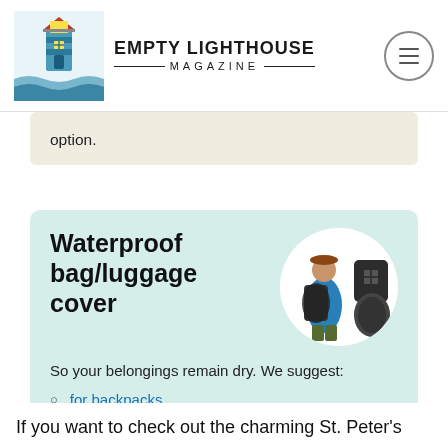EMPTY LIGHTHOUSE MAGAZINE
option.
Waterproof bag/luggage cover
[Figure (photo): Person wearing a backpack with waterproof rain cover, and two standalone rain cover products shown]
So your belongings remain dry. We suggest:
for backpacks
for rolling suitcases
If you want to check out the charming St. Peter's